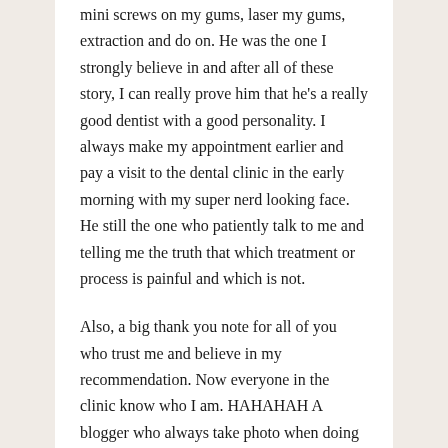mini screws on my gums, laser my gums, extraction and do on. He was the one I strongly believe in and after all of these story, I can really prove him that he's a really good dentist with a good personality. I always make my appointment earlier and pay a visit to the dental clinic in the early morning with my super nerd looking face. He still the one who patiently talk to me and telling me the truth that which treatment or process is painful and which is not.
Also, a big thank you note for all of you who trust me and believe in my recommendation. Now everyone in the clinic know who I am. HAHAHAH A blogger who always take photo when doing her braces and trying her best to hold her tears. I really abit 'pai-seh' (shy) when I cry in front of the nurse and dentist lol.
That's why the only way to distract myself from being scared is doing something else. For example, taking photo for my blog and record my stories and share on my